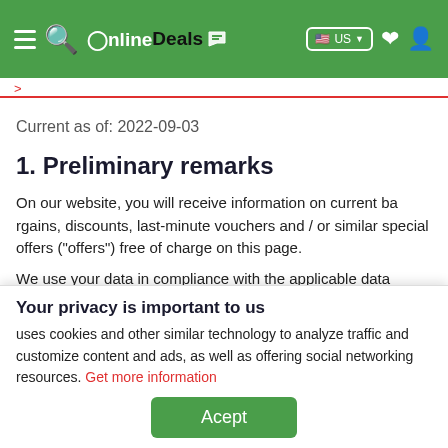OnlineDeals — navigation header with logo, search, flag selector US, heart and user icons
Current as of: 2022-09-03
1. Preliminary remarks
On our website, you will receive information on current bargains, discounts, last-minute vouchers and / or similar special offers ("offers") free of charge on this page.
We use your data in compliance with the applicable data
Your privacy is important to us
uses cookies and other similar technology to analyze traffic and customize content and ads, as well as offering social networking resources. Get more information
Acept